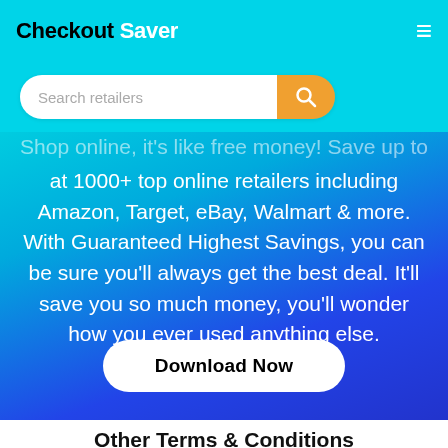Checkout Saver
Search retailers
Shop online, it's like free money! Save up to 70% at 1000+ top online retailers including Amazon, Target, eBay, Walmart & more. With Guaranteed Highest Savings, you can be sure you'll always get the best deal. It'll save you so much money, you'll wonder how you ever used anything else.
Download Now
Other Terms & Conditions